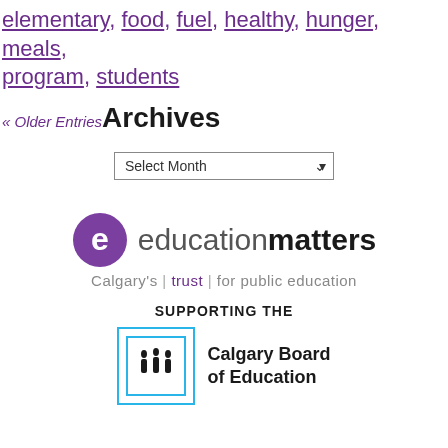elementary, food, fuel, healthy, hunger, meals, program, students
« Older Entries  Archives
Select Month
[Figure (logo): educationmatters logo with purple swirl S icon, tagline: Calgary's | trust | for public education]
SUPPORTING THE
[Figure (logo): Calgary Board of Education logo with figures icon in cyan border box]